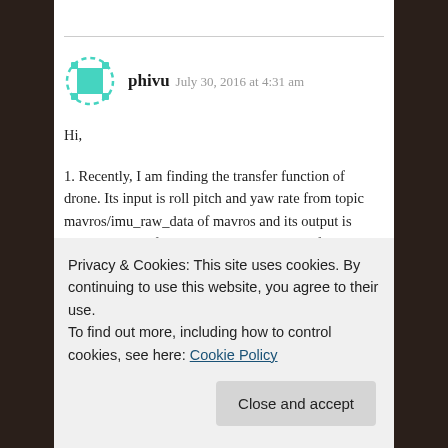phivu  July 30, 2016 at 4:31 am
Hi,
1. Recently, I am finding the transfer function of drone. Its input is roll pitch and yaw rate from topic mavros/imu_raw_data of mavros and its output is PWM signals of roll pitch yaw and throttle from mavros/actuator control that are coded on ROS, mavros, Odroid xu4 and px4
reads the roll pitch yaw and throttle signal from
Privacy & Cookies: This site uses cookies. By continuing to use this website, you agree to their use.
To find out more, including how to control cookies, see here: Cookie Policy